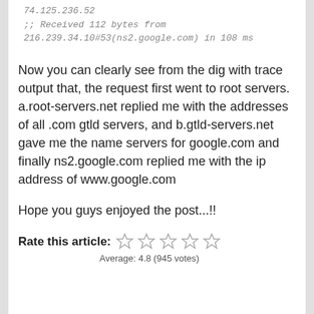74.125.236.52
;; Received 112 bytes from 216.239.34.10#53(ns2.google.com) in 108 ms
Now you can clearly see from the dig with trace output that, the request first went to root servers. a.root-servers.net replied me with the addresses of all .com gtld servers, and b.gtld-servers.net gave me the name servers for google.com and finally ns2.google.com replied me with the ip address of www.google.com
Hope you guys enjoyed the post...!!
Rate this article: ☆☆☆☆☆
Average: 4.8 (945 votes)